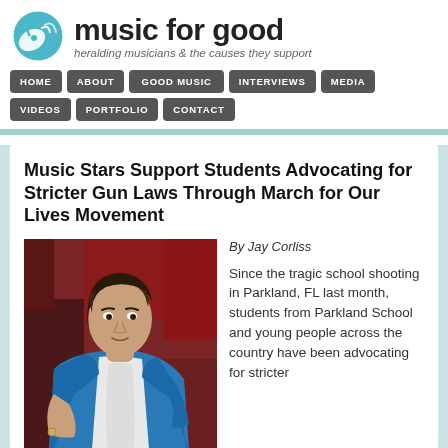music for good — heralding musicians & the causes they support
HOME  ABOUT  GOOD MUSIC  INTERVIEWS  MEDIA  VIDEOS  PORTFOLIO  CONTACT
Music Stars Support Students Advocating for Stricter Gun Laws Through March for Our Lives Movement
By Jay Corliss
[Figure (photo): Young man in blue blazer seated, dark hair, looking at camera]
Since the tragic school shooting in Parkland, FL last month, students from Parkland School and young people across the country have been advocating for stricter